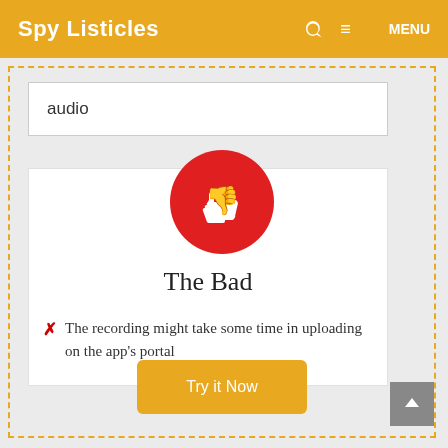Spy Listicles
audio
[Figure (illustration): Red circle with white thumbs-down icon]
The Bad
The recording might take some time in uploading on the app's portal
Try it Now